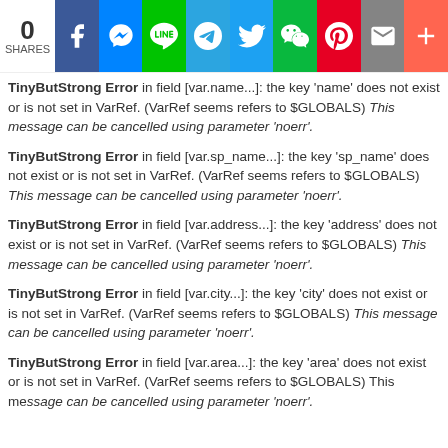[Figure (other): Social share bar with 0 shares and icons: Facebook, Messenger, Line, Telegram, Twitter, WeChat, Pinterest, Mail, More]
TinyButStrong Error in field [var.name...]: the key 'name' does not exist or is not set in VarRef. (VarRef seems refers to $GLOBALS) This message can be cancelled using parameter 'noerr'.
TinyButStrong Error in field [var.sp_name...]: the key 'sp_name' does not exist or is not set in VarRef. (VarRef seems refers to $GLOBALS) This message can be cancelled using parameter 'noerr'.
TinyButStrong Error in field [var.address...]: the key 'address' does not exist or is not set in VarRef. (VarRef seems refers to $GLOBALS) This message can be cancelled using parameter 'noerr'.
TinyButStrong Error in field [var.city...]: the key 'city' does not exist or is not set in VarRef. (VarRef seems refers to $GLOBALS) This message can be cancelled using parameter 'noerr'.
TinyButStrong Error in field [var.area...]: the key 'area' does not exist or is not set in VarRef. (VarRef seems refers to $GLOBALS) This message can be cancelled using parameter 'noerr'.